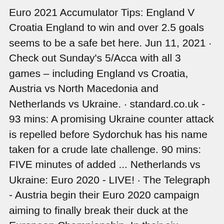Euro 2021 Accumulator Tips: England V Croatia England to win and over 2.5 goals seems to be a safe bet here. Jun 11, 2021 · Check out Sunday's 5/Acca with all 3 games – including England vs Croatia, Austria vs North Macedonia and Netherlands vs Ukraine. · standard.co.uk - 93 mins: A promising Ukraine counter attack is repelled before Sydorchuk has his name taken for a crude late challenge. 90 mins: FIVE minutes of added ... Netherlands vs Ukraine: Euro 2020 - LIVE! · The Telegraph - Austria begin their Euro 2020 campaign aiming to finally break their duck at the European Championship. In their six previous matches, they have failed to get a win and scored just once from open play. The goalscoring responsibility will fall on Marko Arnautovic and Sasa Kalajdzic with recent Real ... Netherlands vs Austria Euro 2020, Group C Date: Thursday 17th June 2021 Kick-off: 00:00 UK/ 01:00